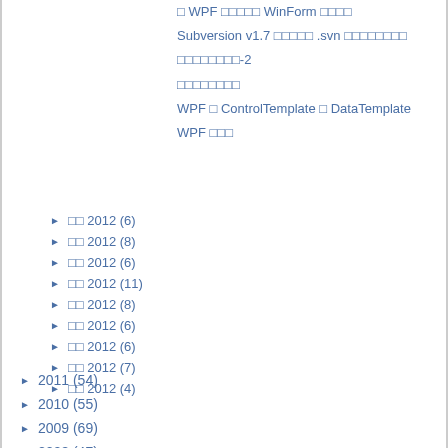□ WPF □□□□□ WinForm □□□□
Subversion v1.7 □□□□□ .svn □□□□□□□□
□□□□□□□□-2
□□□□□□□□
WPF □ ControlTemplate □ DataTemplate
WPF □□□
► □□ 2012 (6)
► □□ 2012 (8)
► □□ 2012 (6)
► □□ 2012 (11)
► □□ 2012 (8)
► □□ 2012 (6)
► □□ 2012 (6)
► □□ 2012 (7)
► □□ 2012 (4)
► 2011 (54)
► 2010 (55)
► 2009 (69)
► 2008 (47)